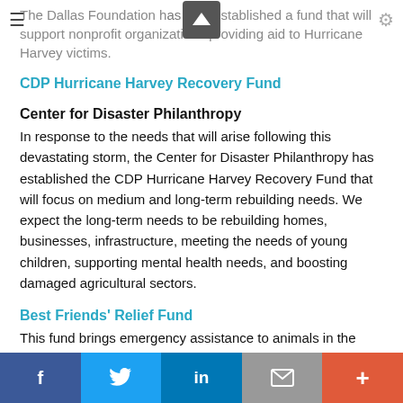The Dallas Foundation has also established a fund that will support nonprofit organizations providing aid to Hurricane Harvey victims.
CDP Hurricane Harvey Recovery Fund
Center for Disaster Philanthropy
In response to the needs that will arise following this devastating storm, the Center for Disaster Philanthropy has established the CDP Hurricane Harvey Recovery Fund that will focus on medium and long-term rebuilding needs. We expect the long-term needs to be rebuilding homes, businesses, infrastructure, meeting the needs of young children, supporting mental health needs, and boosting damaged agricultural sectors.
Best Friends' Relief Fund
This fund brings emergency assistance to animals in the wake of disasters. Donations to this fund are used exclusively to support lifesaving work wherever and whenever a catastrophe occurs.
f  twitter  in  email  +